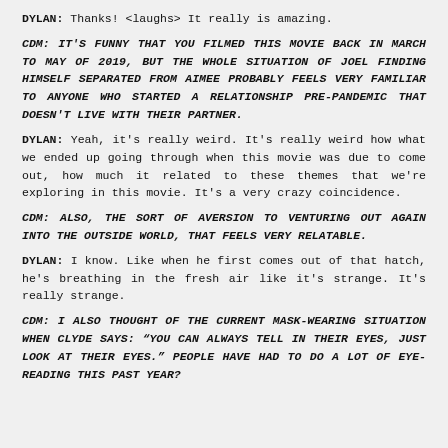DYLAN: Thanks! <laughs> It really is amazing.
CDM: IT'S FUNNY THAT YOU FILMED THIS MOVIE BACK IN MARCH TO MAY OF 2019, BUT THE WHOLE SITUATION OF JOEL FINDING HIMSELF SEPARATED FROM AIMEE PROBABLY FEELS VERY FAMILIAR TO ANYONE WHO STARTED A RELATIONSHIP PRE-PANDEMIC THAT DOESN'T LIVE WITH THEIR PARTNER.
DYLAN: Yeah, it's really weird. It's really weird how what we ended up going through when this movie was due to come out, how much it related to these themes that we're exploring in this movie. It's a very crazy coincidence.
CDM: ALSO, THE SORT OF AVERSION TO VENTURING OUT AGAIN INTO THE OUTSIDE WORLD, THAT FEELS VERY RELATABLE.
DYLAN: I know. Like when he first comes out of that hatch, he's breathing in the fresh air like it's strange. It's really strange.
CDM: I ALSO THOUGHT OF THE CURRENT MASK-WEARING SITUATION WHEN CLYDE SAYS: “YOU CAN ALWAYS TELL IN THEIR EYES, JUST LOOK AT THEIR EYES.” PEOPLE HAVE HAD TO DO A LOT OF EYE-READING THIS PAST YEAR?